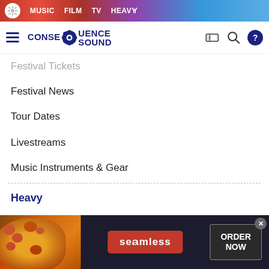MUSIC  FILM  TV  HEAVY
[Figure (logo): Consequence Sound logo with gear icon]
Festival Tickets
Festival News
Tour Dates
Livestreams
Music Instruments & Gear
Heavy
News
Interviews
Concerts
[Figure (screenshot): Seamless food delivery advertisement banner with pizza image, Seamless logo, and Order Now button]